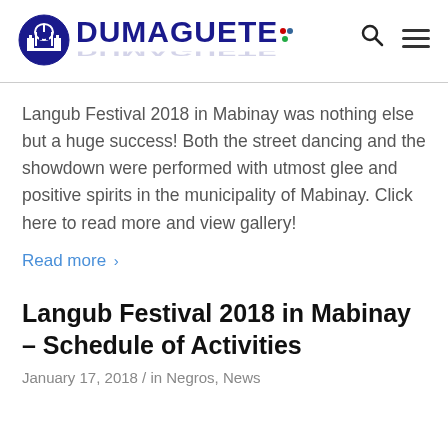[Figure (logo): Dumaguete Info logo with city icon and bold blue DUMAGUETE: text with colored dots]
Langub Festival 2018 in Mabinay was nothing else but a huge success! Both the street dancing and the showdown were performed with utmost glee and positive spirits in the municipality of Mabinay. Click here to read more and view gallery!
Read more >
Langub Festival 2018 in Mabinay – Schedule of Activities
January 17, 2018 / in Negros, News